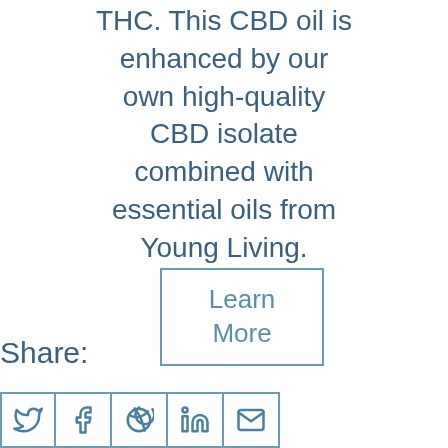THC. This CBD oil is enhanced by our own high-quality CBD isolate combined with essential oils from Young Living.
Learn More
Share:
[Figure (other): Row of five social share icon buttons: Twitter, Facebook, Pinterest, LinkedIn, Email]